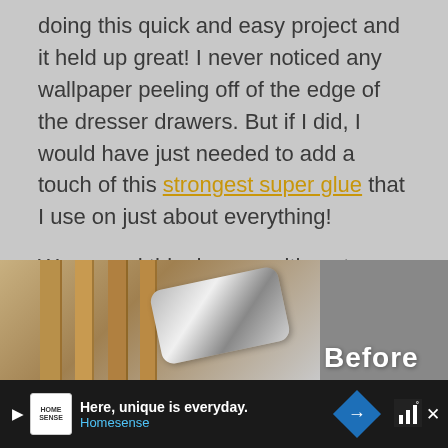doing this quick and easy project and it held up great! I never noticed any wallpaper peeling off of the edge of the dresser drawers. But if I did, I would have just needed to add a touch of this strongest super glue that I use on just about everything!
We moved this dresser with us to our new fixer upper and eventually sold it to make way for our DIY mudroom lockers last year.
[Figure (photo): Photo strip showing a dresser makeover. Left: wooden cabinet with chrome handles. Right: labeled 'Before' showing original dresser state.]
[Figure (other): What's Next widget showing thumbnail and text: '20 Easy DIY Dresser and...']
[Figure (other): Social UI buttons: heart/like button, count 194, share button]
[Figure (other): Advertisement bar: Home Sense logo, 'Here, unique is everyday. Homesense', navigation diamond icon, close X button]